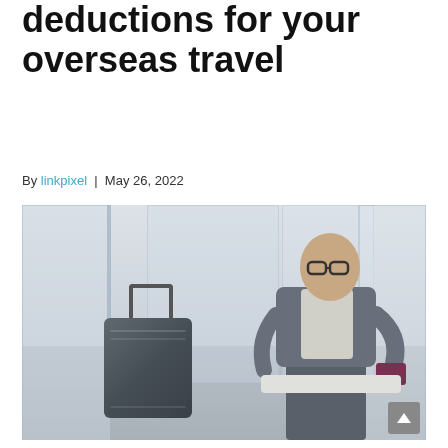deductions for your overseas travel
By linkpixel | May 26, 2022
[Figure (photo): A businessman in a grey suit sitting in an airport lounge, holding a passport/phone, with a dark grey carry-on suitcase beside him. The background shows glass partition walls.]